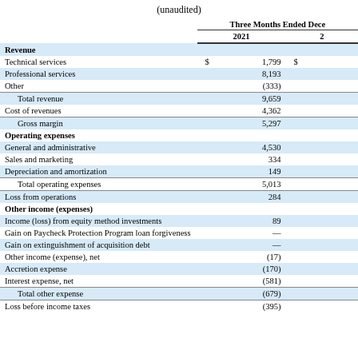(unaudited)
|  | Three Months Ended December 2021 | 2 |
| --- | --- | --- |
| Revenue |  |  |
| Technical services | $ 1,799 | $ |
| Professional services | 8,193 |  |
| Other | (333) |  |
| Total revenue | 9,659 |  |
| Cost of revenues | 4,362 |  |
| Gross margin | 5,297 |  |
| Operating expenses |  |  |
| General and administrative | 4,530 |  |
| Sales and marketing | 334 |  |
| Depreciation and amortization | 149 |  |
| Total operating expenses | 5,013 |  |
| Loss from operations | 284 |  |
| Other income (expenses) |  |  |
| Income (loss) from equity method investments | 89 |  |
| Gain on Paycheck Protection Program loan forgiveness | — |  |
| Gain on extinguishment of acquisition debt | — |  |
| Other income (expense), net | (17) |  |
| Accretion expense | (170) |  |
| Interest expense, net | (581) |  |
| Total other expense | (679) |  |
| Loss before income taxes | (395) |  |